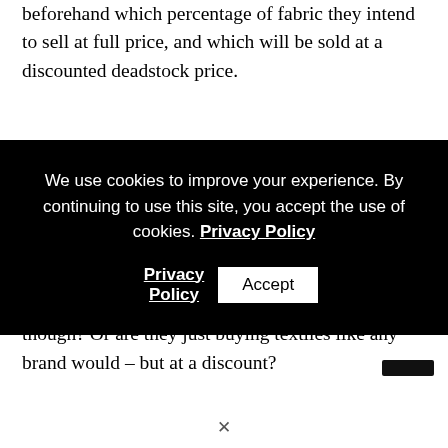beforehand which percentage of fabric they intend to sell at full price, and which will be sold at a discounted deadstock price.
The takeaway here is that the mills would never dream [of wasting fabric...] deadstock fabric from going into landfill. But is it, though? Or are they just buying textiles like any brand would – but at a discount?
[Figure (screenshot): Cookie consent banner overlay with black background containing text: 'We use cookies to improve your experience. By continuing to use this site, you accept the use of cookies. Privacy Policy' with an Accept button.]